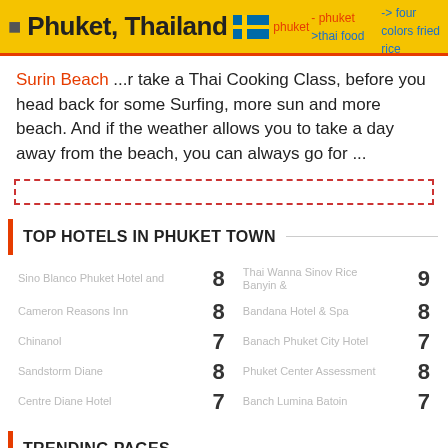Phuket, Thailand | phuket | phuket | thai food | -> four colors fried rice
Surin Beach ...r take a Thai Cooking Class, before you head back for some Surfing, more sun and more beach. And if the weather allows you to take a day away from the beach, you can always go for ...
TOP HOTELS IN PHUKET TOWN
| Hotel | Score |
| --- | --- |
| Sino Blanco Phuket Hotel and | 8 |
| Thai Wanna Sinov Rice Banyin & | 9 |
| Cameron Reasons Inn | 8 |
| Bandana Hotel & Spa | 8 |
| Chinanol | 7 |
| Banach Phuket City Hotel | 7 |
| Sandstorm Diane | 8 |
| Phuket Center Assessment | 8 |
| Centre Diane Hotel | 7 |
| Banch Lumina Batoin | 7 |
TRENDING PAGES